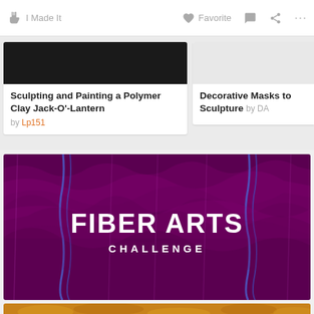I Made It   Favorite   ...
Sculpting and Painting a Polymer Clay Jack-O'-Lantern
by Lp151
Decorative Masks to Sculpture by DA
[Figure (photo): Fiber Arts Challenge banner with purple yarn/fiber texture background and white bold text reading FIBER ARTS CHALLENGE]
[Figure (photo): Close-up photo of fried onion rings, golden-brown in color]